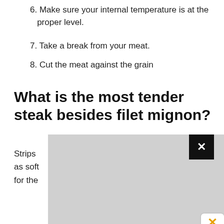6. Make sure your internal temperature is at the proper level.
7. Take a break from your meat.
8. Cut the meat against the grain
What is the most tender steak besides filet mignon?
Strips [partially obscured] be nearly as soft [partially obscured] d value for the [partially obscured]